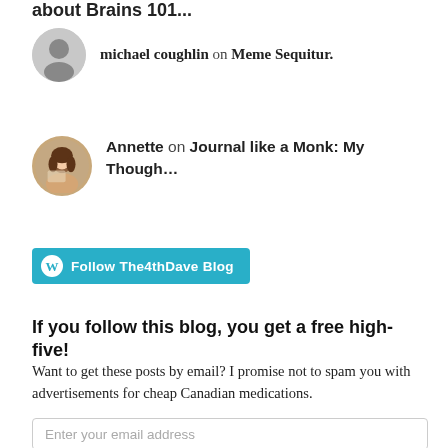about Brains 101...
michael coughlin on Meme Sequitur.
Annette on Journal like a Monk: My Though…
[Figure (other): Follow The4thDave Blog button (WordPress style, teal/cyan background with WordPress logo icon)]
If you follow this blog, you get a free high-five!
Want to get these posts by email? I promise not to spam you with advertisements for cheap Canadian medications.
Enter your email address
Follow me!